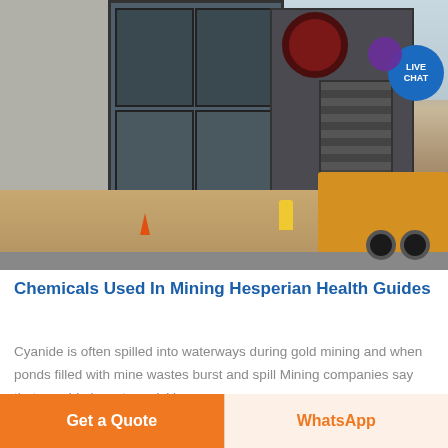[Figure (photo): Photograph of a mining/crushing plant site with heavy industrial equipment, a jaw crusher machine mounted on a steel frame, concrete building structure on the left, stairs on the right, a yellow truck, workers in safety vests, and mountains in the background. A 'LIVE CHAT' button bubble is overlaid in the top-right corner.]
Chemicals Used In Mining Hesperian Health Guides
Cyanide is often spilled into waterways during gold mining and when ponds filled with mine wastes burst and spill Mining companies say that cyanide in water quickly
Get a Quote
WhatsApp